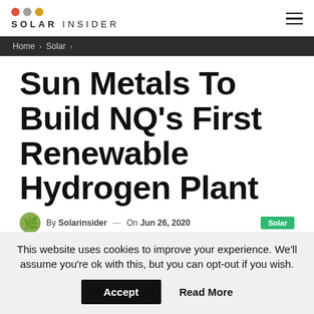SOLAR INSIDER
Home > Solar >
Sun Metals To Build NQ’s First Renewable Hydrogen Plant
By Solarinsider — On Jun 26, 2020 Solar
This website uses cookies to improve your experience. We'll assume you're ok with this, but you can opt-out if you wish.
Accept   Read More